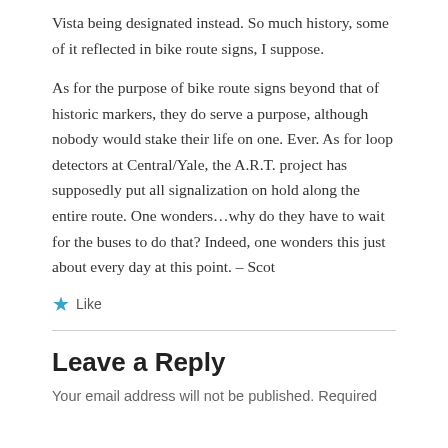Vista being designated instead. So much history, some of it reflected in bike route signs, I suppose.
As for the purpose of bike route signs beyond that of historic markers, they do serve a purpose, although nobody would stake their life on one. Ever. As for loop detectors at Central/Yale, the A.R.T. project has supposedly put all signalization on hold along the entire route. One wonders…why do they have to wait for the buses to do that? Indeed, one wonders this just about every day at this point. – Scot
★ Like
Leave a Reply
Your email address will not be published. Required